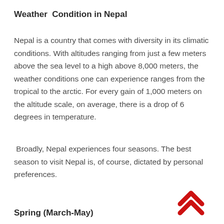Weather  Condition in Nepal
Nepal is a country that comes with diversity in its climatic conditions. With altitudes ranging from just a few meters above the sea level to a high above 8,000 meters, the weather conditions one can experience ranges from the tropical to the arctic. For every gain of 1,000 meters on the altitude scale, on average, there is a drop of 6 degrees in temperature.
Broadly, Nepal experiences four seasons. The best season to visit Nepal is, of course, dictated by personal preferences.
[Figure (illustration): Red double chevron/arrow icon pointing upward]
Spring (March-May)